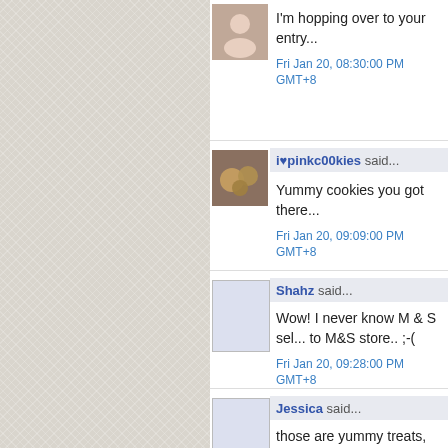I'm hopping over to your entry...
Fri Jan 20, 08:30:00 PM GMT+8
i♥pinkc00kies said...
Yummy cookies you got there...
Fri Jan 20, 09:09:00 PM GMT+8
Shahz said...
Wow! I never know M & S sel... to M&S store.. ;-(
Fri Jan 20, 09:28:00 PM GMT+8
Jessica said...
those are yummy treats, mak...